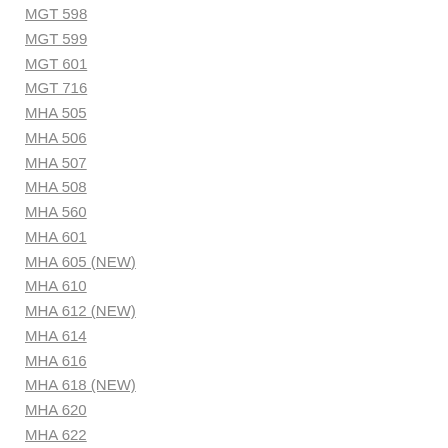MGT 598
MGT 599
MGT 601
MGT 716
MHA 505
MHA 506
MHA 507
MHA 508
MHA 560
MHA 601
MHA 605 (NEW)
MHA 610
MHA 612 (NEW)
MHA 614
MHA 616
MHA 618 (NEW)
MHA 620
MHA 622
MHA 624 (NEW)